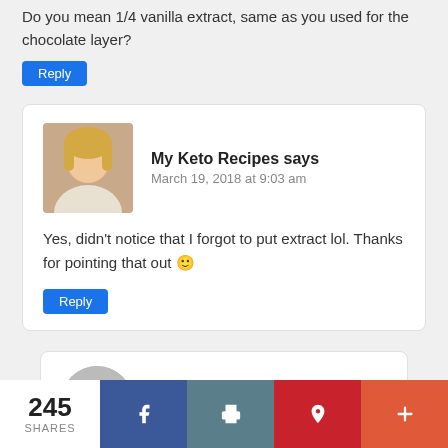Do you mean 1/4 vanilla extract, same as you used for the chocolate layer?
Reply
My Keto Recipes says
March 19, 2018 at 9:03 am
Yes, didn't notice that I forgot to put extract lol. Thanks for pointing that out 🙂
Reply
Lori says
245 SHARES